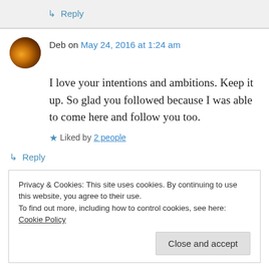↳ Reply
Deb on May 24, 2016 at 1:24 am
I love your intentions and ambitions. Keep it up. So glad you followed because I was able to come here and follow you too.
★ Liked by 2 people
↳ Reply
Privacy & Cookies: This site uses cookies. By continuing to use this website, you agree to their use.
To find out more, including how to control cookies, see here: Cookie Policy
Close and accept
win/win all around!